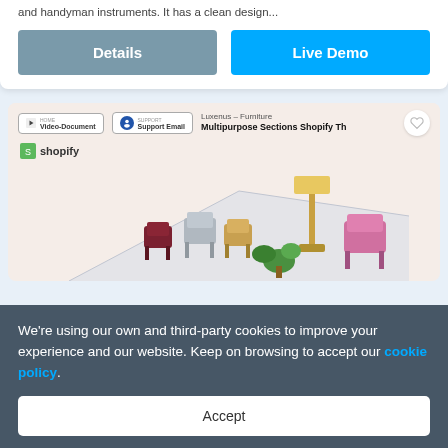and handyman instruments. It has a clean design...
Details
Live Demo
[Figure (screenshot): Shopify theme product card for Luxenus - Furniture Multipurpose Sections Shopify Theme, showing video-document and support email buttons, a heart/wishlist icon, Shopify logo, and a furniture scene with chairs and a lamp.]
We're using our own and third-party cookies to improve your experience and our website. Keep on browsing to accept our cookie policy.
Accept